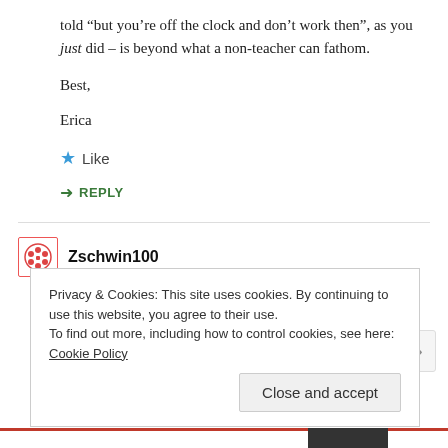told “but you’re off the clock and don’t work then”, as you just did – is beyond what a non-teacher can fathom.
Best,
Erica
★ Like
➜ REPLY
Zschwin100
Privacy & Cookies: This site uses cookies. By continuing to use this website, you agree to their use.
To find out more, including how to control cookies, see here: Cookie Policy
Close and accept